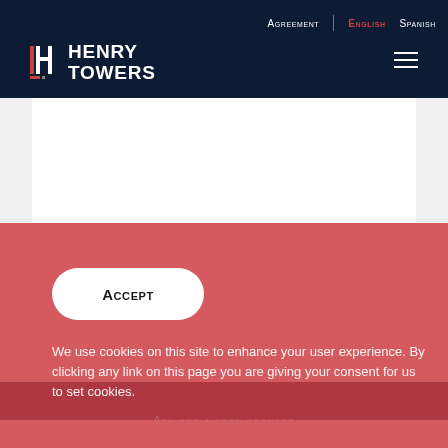Agreement | English | Spanish
[Figure (logo): Henry Towers logo: stylized I and H T letters in white with red accent marks on dark navy background]
Accept
We use cookies on this site to enhance your user experience. By clicking any link on this page you are giving your consent for us to set cookies.
Ask for a free request